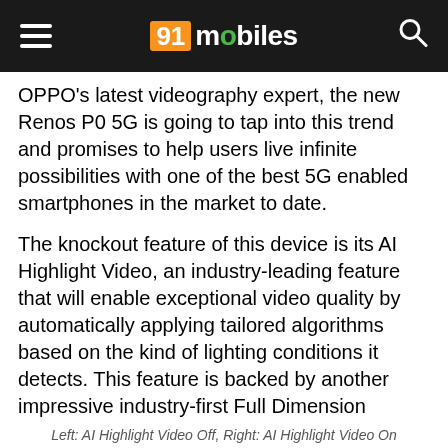91mobiles
OPPO's latest videography expert, the new Renos P0 5G is going to tap into this trend and promises to help users live infinite possibilities with one of the best 5G enabled smartphones in the market to date.
The knockout feature of this device is its AI Highlight Video, an industry-leading feature that will enable exceptional video quality by automatically applying tailored algorithms based on the kind of lighting conditions it detects. This feature is backed by another impressive industry-first Full Dimension Fusion (FDF) Portrait Video System. Aimed at delivering clear and bright videos in all possible lighting conditions, this new feature will automatically detect the light levels and intelligently enhance video quality for a seamless video experience.
Left: AI Highlight Video Off, Right: AI Highlight Video On